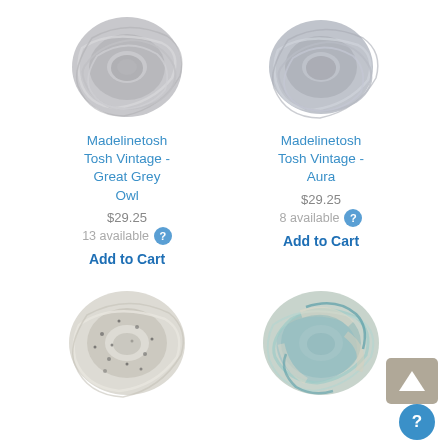[Figure (photo): Skein of light grey yarn - Madelinetosh Tosh Vintage Great Grey Owl]
Madelinetosh Tosh Vintage - Great Grey Owl
$29.25
13 available
Add to Cart
[Figure (photo): Skein of light bluish-grey yarn - Madelinetosh Tosh Vintage Aura]
Madelinetosh Tosh Vintage - Aura
$29.25
8 available
Add to Cart
[Figure (photo): Skein of off-white yarn with dark flecks]
[Figure (photo): Skein of aqua/teal variegated yarn]